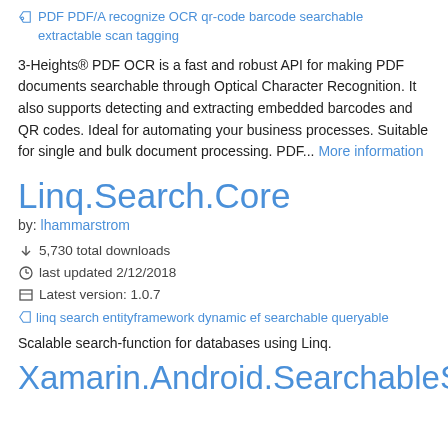♢ PDF PDF/A recognize OCR qr-code barcode searchable extractable scan tagging
3-Heights® PDF OCR is a fast and robust API for making PDF documents searchable through Optical Character Recognition. It also supports detecting and extracting embedded barcodes and QR codes. Ideal for automating your business processes. Suitable for single and bulk document processing. PDF... More information
Linq.Search.Core
by: lhammarstrom
↓ 5,730 total downloads
🕐 last updated 2/12/2018
⊟ Latest version: 1.0.7
♢ linq search entityframework dynamic ef searchable queryable
Scalable search-function for databases using Linq.
Xamarin.Android.SearchableSpinner